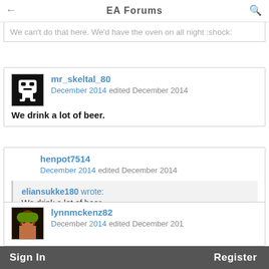EA Forums
We can't do that here. We'd have the oven on all night :shock:
mr_skeltal_80
December 2014 edited December 2014
We drink a lot of beer.
henpot7514
December 2014 edited December 2014
eliansukke180 wrote:
We drink a lot of beer.
^ this
lynnmckenz82
December 2014 edited December 2014
Sign In   Register